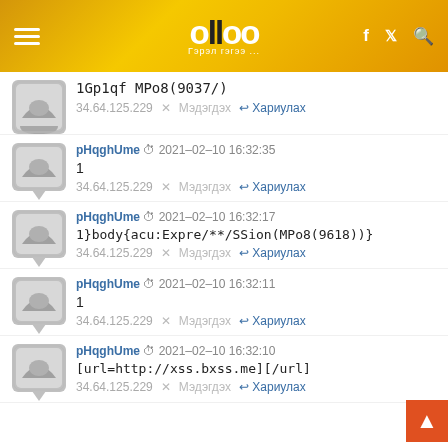olloo — Гэрэл гэгээ ...
1Gp1qf MPo8(9037/)
34.64.125.229  ✕ Мэдэгдэх  ↩ Хариулах
pHqghUme  2021-02-10 16:32:35
1
34.64.125.229  ✕ Мэдэгдэх  ↩ Хариулах
pHqghUme  2021-02-10 16:32:17
1}body{acu:Expre/**/SSion(MPo8(9618))}
34.64.125.229  ✕ Мэдэгдэх  ↩ Хариулах
pHqghUme  2021-02-10 16:32:11
1
34.64.125.229  ✕ Мэдэгдэх  ↩ Хариулах
pHqghUme  2021-02-10 16:32:10
[url=http://xss.bxss.me][/url]
34.64.125.229  ✕ Мэдэгдэх  ↩ Хариулах